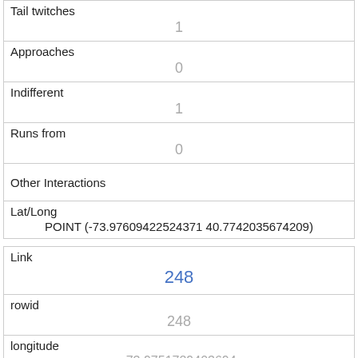| Tail twitches | 1 |
| Approaches | 0 |
| Indifferent | 1 |
| Runs from | 0 |
| Other Interactions |  |
| Lat/Long | POINT (-73.97609422524371 40.7742035674209) |
| Link | 248 |
| rowid | 248 |
| longitude | -73.9751729403694 |
| latitude | 40.774328412311796 |